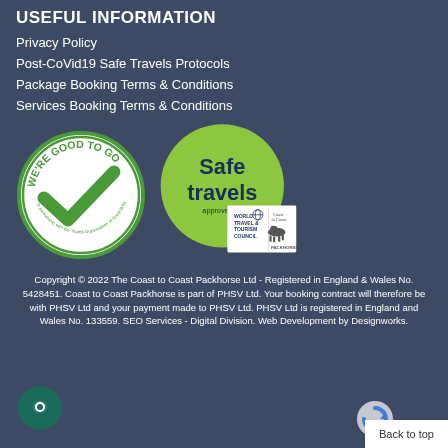USEFUL INFORMATION
Privacy Policy
Post-CoVid19 Safe Travels Protocols
Package Booking Terms & Conditions
Services Booking Terms & Conditions
[Figure (logo): Two circular badges: left is 'We're Good To Go' with green checkmark on white background; right is green 'Safe travels' badge with 'approved by World Travel & Tourism Council' and Coast to Coast Packhorse logos]
Copyright © 2022 The Coast to Coast Packhorse Ltd - Registered in England & Wales No. 5428451. Coast to Coast Packhorse is part of PHSV Ltd. Your booking contract will therefore be with PHSV Ltd and your payment made to PHSV Ltd. PHSV Ltd is registered in England and Wales No. 133559. SEO Services - Digital Division. Web Development by Designworks.